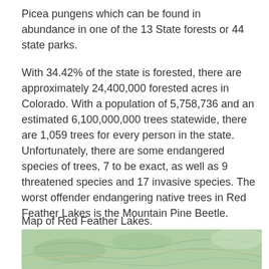Picea pungens which can be found in abundance in one of the 13 State forests or 44 state parks.
With 34.42% of the state is forested, there are approximately 24,400,000 forested acres in Colorado. With a population of 5,758,736 and an estimated 6,100,000,000 trees statewide, there are 1,059 trees for every person in the state.
Unfortunately, there are some endangered species of trees, 7 to be exact, as well as 9 threatened species and 17 invasive species. The worst offender endangering native trees in Red Feather Lakes is the Mountain Pine Beetle.
Map of Red Feather Lakes.
[Figure (map): Map of Red Feather Lakes area showing green terrain/topography]